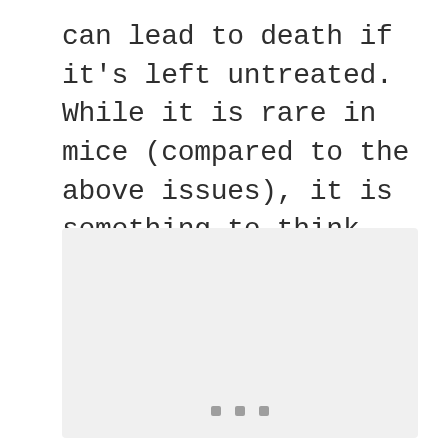can lead to death if it's left untreated. While it is rare in mice (compared to the above issues), it is something to think about. Symptoms include dehydration, going into shock, and a fever.
[Figure (photo): A light gray rectangular image placeholder with three small gray square dots at the bottom center, indicating an image loading or placeholder state.]